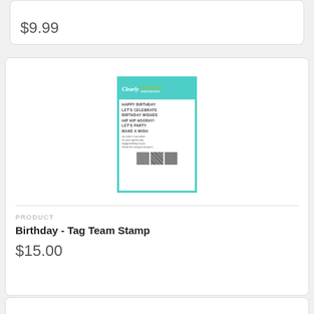$9.99
[Figure (photo): Product image of Birthday - Tag Team Stamp by Taviored Expressions / Clearly. Teal-bordered stamp set showing text phrases: HAPPY BIRTHDAY, LET'S CELEBRATE, BIRTHDAY WISHES, HIP HIP HOORAY!, LET'S PARTY, MAKE A WISH, and smaller cursive sentiments, plus three patterned background stamp blocks at the bottom.]
PRODUCT
Birthday - Tag Team Stamp
$15.00